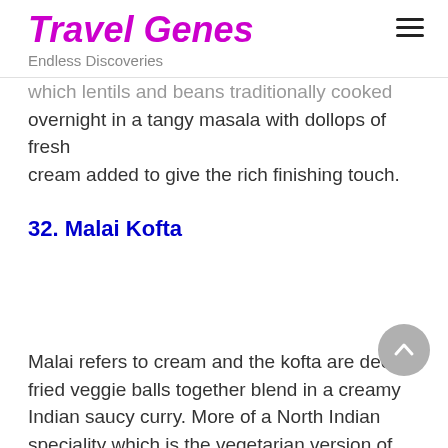Travel Genes
Endless Discoveries
which lentils and beans traditionally cooked overnight in a tangy masala with dollops of fresh cream added to give the rich finishing touch.
32. Malai Kofta
Malai refers to cream and the kofta are deep-fried veggie balls together blend in a creamy Indian saucy curry. More of a North Indian speciality which is the vegetarian version of the famous meatball curries.